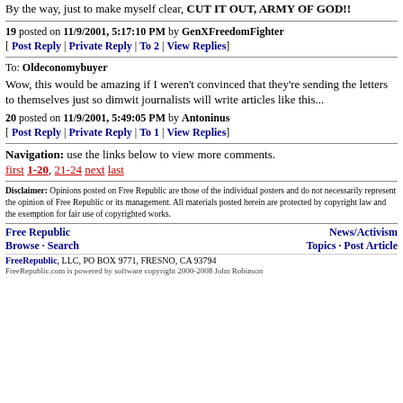By the way, just to make myself clear, CUT IT OUT, ARMY OF GOD!!
19 posted on 11/9/2001, 5:17:10 PM by GenXFreedomFighter
[ Post Reply | Private Reply | To 2 | View Replies]
To: Oldeconomybuyer
Wow, this would be amazing if I weren't convinced that they're sending the letters to themselves just so dimwit journalists will write articles like this...
20 posted on 11/9/2001, 5:49:05 PM by Antoninus
[ Post Reply | Private Reply | To 1 | View Replies]
Navigation: use the links below to view more comments.
first 1-20, 21-24 next last
Disclaimer: Opinions posted on Free Republic are those of the individual posters and do not necessarily represent the opinion of Free Republic or its management. All materials posted herein are protected by copyright law and the exemption for fair use of copyrighted works.
Free Republic Browse · Search News/Activism Topics · Post Article
FreeRepublic, LLC, PO BOX 9771, FRESNO, CA 93794
FreeRepublic.com is powered by software copyright 2000-2008 John Robinson